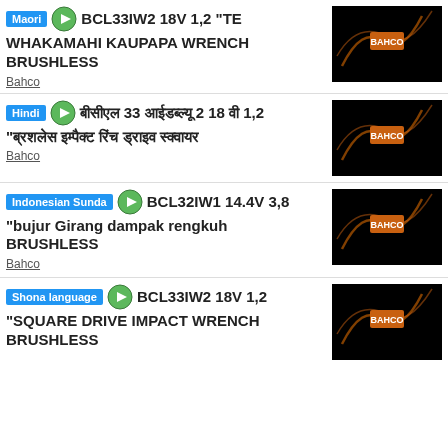Maori | BCL33IW2 18V 1,2 "TE WHAKAMAHI KAUPAPA WRENCH BRUSHLESS | Bahco
Hindi | बीसीएल 33 आईडब्ल्यू 2 18 वी 1,2 "ब्रश रहित प्रभाव रिंच | Bahco
Indonesian Sunda | BCL32IW1 14.4V 3,8 "bujur Girang dampak rengkuh BRUSHLESS | Bahco
Shona language | BCL33IW2 18V 1,2 "SQUARE DRIVE IMPACT WRENCH BRUSHLESS